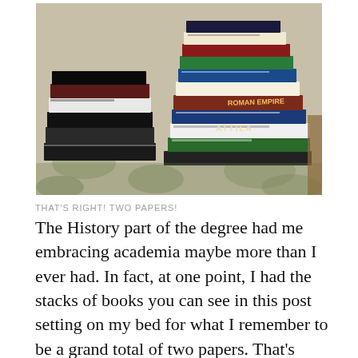[Figure (photo): A large stack of books piled on a bed with a floral patterned cover, including visible titles such as 'Roman Empire' and 'Attila'.]
THAT'S RIGHT! TWO PAPERS!
The History part of the degree had me embracing academia maybe more than I ever had. In fact, at one point, I had the stacks of books you can see in this post setting on my bed for what I remember to be a grand total of two papers. That’s right! Two papers!
The thing is though, despite the non-fiction aspect of my life, I had a bit of an art-bug-bite going on. I don’t